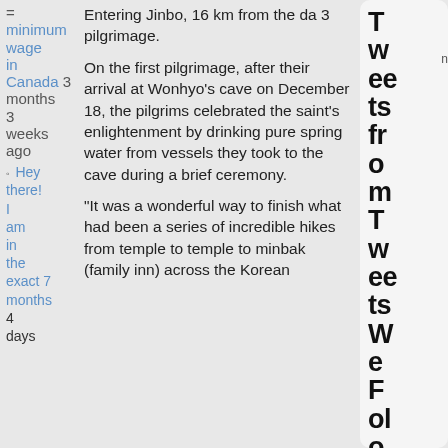minimum wage in Canada 3 months 3 weeks ago
Hey there! I am in the exact 7 months 4 days
Entering Jinbo, 16 km from the da 3 pilgrimage.
On the first pilgrimage, after their arrival at Wonhyo’s cave on December 18, the pilgrims celebrated the saint’s enlightenment by drinking pure spring water from vessels they took to the cave during a brief ceremony.
“It was a wonderful way to finish what had been a series of incredible hikes from temple to temple to minbak (family inn) across the Korean
Tweets from Tweets We Follow